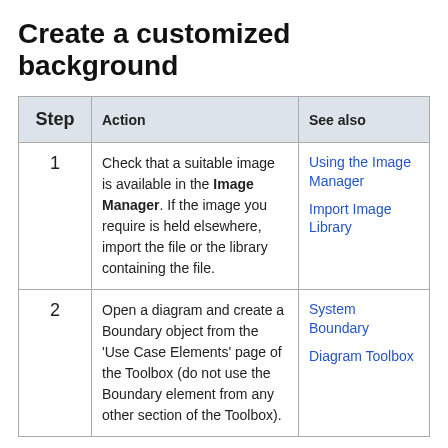Create a customized background
| Step | Action | See also |
| --- | --- | --- |
| 1 | Check that a suitable image is available in the Image Manager. If the image you require is held elsewhere, import the file or the library containing the file. | Using the Image Manager

Import Image Library |
| 2 | Open a diagram and create a Boundary object from the 'Use Case Elements' page of the Toolbox (do not use the Boundary element from any other section of the Toolbox). | System Boundary

Diagram Toolbox |